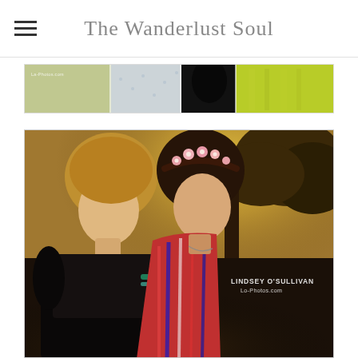The Wanderlust Soul
[Figure (photo): Horizontal strip photo showing three women in dresses (lace yellow-green, floral light, black) against a graphic background. Watermark reads La-Photos.com]
[Figure (photo): Portrait photo of two teenage girls outdoors at golden hour. Left girl has blonde hair, right girl wears a pink flower crown and colorful blanket wrap. Tree visible in background. Watermark reads LINDSEY O'SULLIVAN Lo-Photos.com]